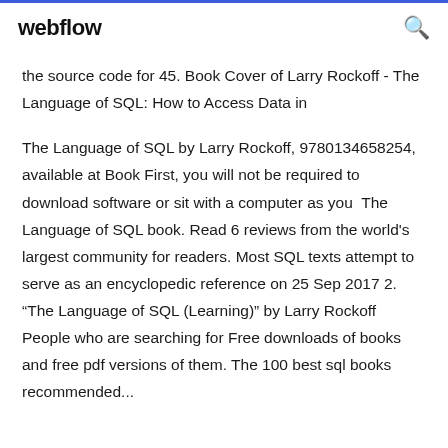webflow
the source code for 45. Book Cover of Larry Rockoff - The Language of SQL: How to Access Data in
The Language of SQL by Larry Rockoff, 9780134658254, available at Book First, you will not be required to download software or sit with a computer as you  The Language of SQL book. Read 6 reviews from the world's largest community for readers. Most SQL texts attempt to serve as an encyclopedic reference on 25 Sep 2017 2. “The Language of SQL (Learning)” by Larry Rockoff People who are searching for Free downloads of books and free pdf versions of them. The 100 best sql books recommended...